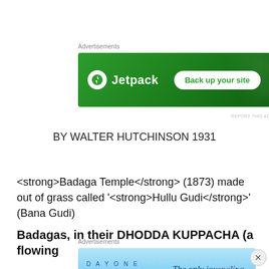[Figure (other): Jetpack advertisement banner: green background with Jetpack logo and 'Back up your site' button]
REPORT THIS AD
BY WALTER HUTCHINSON 1931
<strong>Badaga Temple</strong> (1873) made out of grass called '<strong>Hullu Gudi</strong>' (Bana Gudi)
Badagas, in their DHODDA KUPPACHA (a flowing
[Figure (other): DayOne journaling app advertisement: light blue background with DayOne logo and text 'The only journaling app you'll ever need.']
REPORT THIS AD